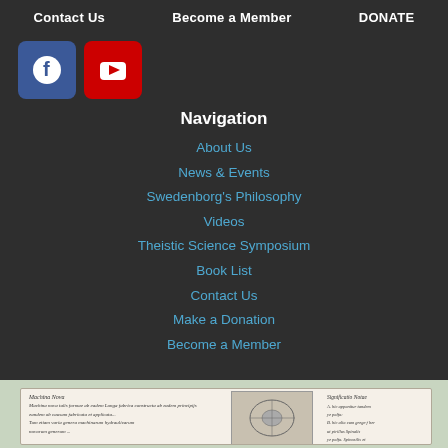Contact Us   Become a Member   DONATE
[Figure (logo): Facebook icon (blue square with white F) and YouTube icon (red square with white play button)]
Navigation
About Us
News & Events
Swedenborg's Philosophy
Videos
Theistic Science Symposium
Book List
Contact Us
Make a Donation
Become a Member
[Figure (photo): Manuscript page with handwritten text in cursive, a figurative illustration in the center, and a legend/notes column on the right reading 'Significatio Notae']